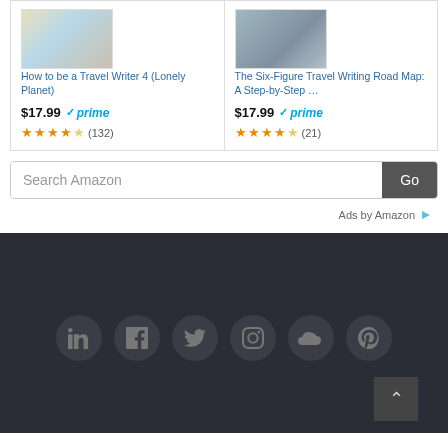[Figure (screenshot): Amazon product card: How to be a Travel Writer 4 (Lonely Planet), $17.99, Prime, 4.5 stars (132 reviews)]
[Figure (screenshot): Amazon product card: The Six-Figure Travel Writing Road Map: A Step-by-Step ..., $17.99, Prime, 4.5 stars (21 reviews)]
Search Amazon
Go
Ads by Amazon
[Figure (infographic): Social media icons row: LinkedIn, Facebook, Twitter, Instagram, SoundCloud, Pinterest on dark background footer]